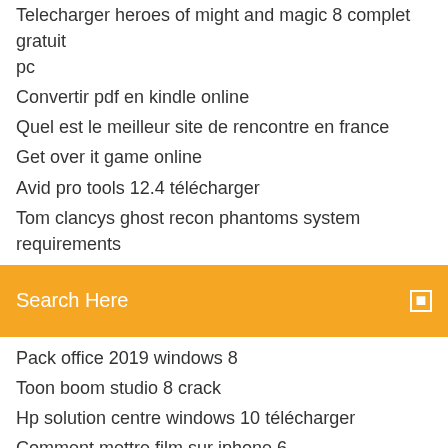Telecharger heroes of might and magic 8 complet gratuit pc
Convertir pdf en kindle online
Quel est le meilleur site de rencontre en france
Get over it game online
Avid pro tools 12.4 télécharger
Tom clancys ghost recon phantoms system requirements
Search Here
Pack office 2019 windows 8
Toon boom studio 8 crack
Hp solution centre windows 10 télécharger
Comment mettre film sur iphone 6
Driver hp laserjet 3055 scanner windows 10
Abyssmedia streaming audio recorder torrent
Telecharger pilote pour imprimante hp 5520
Microsoft lifecam hd 3000 driver télécharger windows 8.1
Can you get facetime on android phones
Logiciel gravure nero gratuit pour windows 7